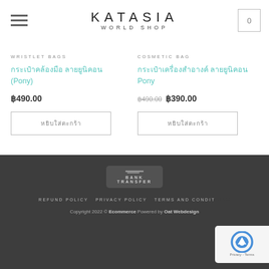KATASIA WORLD SHOP
WRISTLET BAGS
กระเป๋าคล้องมือ ลายยูนิคอน (Pony)
฿490.00
หยิบใส่ตะกร้า
COSMETIC BAG
กระเป๋าเครื่องสำอางค์ ลายยูนิคอน Pony
฿490.00 ฿390.00
หยิบใส่ตะกร้า
[Figure (logo): Bank Transfer payment badge]
REFUND POLICY   PRIVACY POLICY   TERMS AND CONDITIONS   Copyright 2022 © Ecommerce Powered by Oat Webdesign